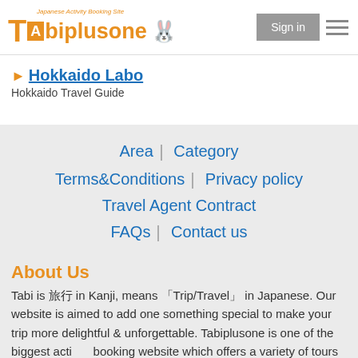Tabiplusone — Japanese Activity Booking Site
Hokkaido Labo
Hokkaido Travel Guide
Area｜ Category
Terms&Conditions｜ Privacy policy
Travel Agent Contract
FAQs｜ Contact us
About Us
Tabi is 旅行 in Kanji, means 「Trip/Travel」 in Japanese. Our website is aimed to add one something special to make your trip more delightful & unforgettable. Tabiplusone is one of the biggest activity booking website which offers a variety of tours and activities. Some special offers are available only on Tabiplusone. Come and join our